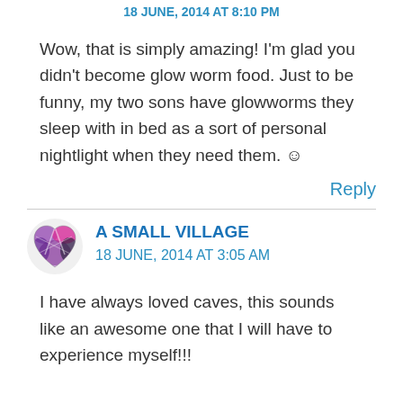18 JUNE, 2014 AT 8:10 PM
Wow, that is simply amazing! I'm glad you didn't become glow worm food. Just to be funny, my two sons have glowworms they sleep with in bed as a sort of personal nightlight when they need them. ☺
Reply
A SMALL VILLAGE
18 JUNE, 2014 AT 3:05 AM
I have always loved caves, this sounds like an awesome one that I will have to experience myself!!!